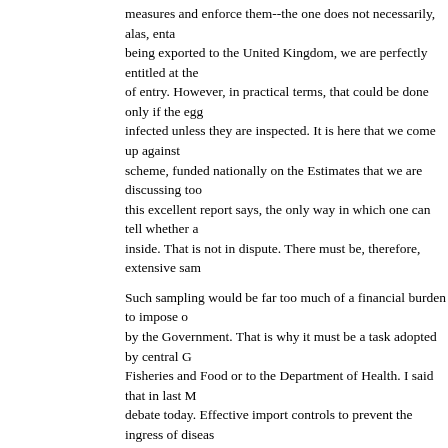measures and enforce them--the one does not necessarily, alas, entail the other. If eggs are being exported to the United Kingdom, we are perfectly entitled at the point of entry. However, in practical terms, that could be done only if the eggs are assumed to be infected unless they are inspected. It is here that we come up against the salmonella testing scheme, funded nationally on the Estimates that we are discussing today. As I understand it, this excellent report says, the only way in which one can tell whether an egg is infected is from inside. That is not in dispute. There must be, therefore, extensive sampling.
Such sampling would be far too much of a financial burden to impose on industry; it must be met by the Government. That is why it must be a task adopted by central Government, either to Fisheries and Food or to the Department of Health. I said that in last Monday's debate and I say it in debate today. Effective import controls to prevent the ingress of disease are essential. All the money that the Department is spending on controlling this disease will be wasted unless the market is protected from the infection of salmonella-bearing eggs. People will not know whether they are buying imported eggs. If they get salmonella poisoning, they know only that it came from eggs, and eggs are eggs. It is no good asking them, "Are you sure?" That will be seen as a failure of the measures taken by the Government and the industry.
Let me say how glad I am that my hon. Friend the Member for Weston stressed the importance of hygiene in the catering industry and in the home. People who get salmonella from an egg, the last thing that they will believe is that it is because they have left the egg out, and that from that draining board--which had previously had raw meat placed on it without disinfectant or boiling water--the egg
Column 821
picked up salmonella. They will be convinced that the salmonella must have come because they beaten it with an egg whisk which had been lying on the draining board which there was no convenient place to wash up.
Mr. Morland : It is where the cat sits.